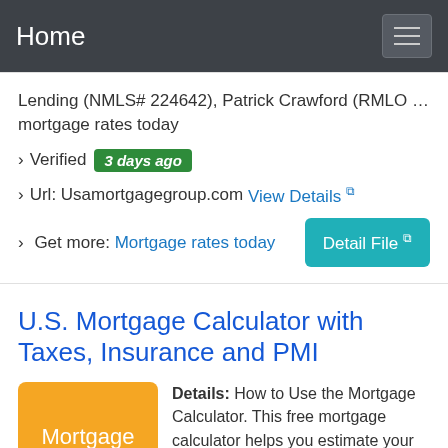Home
Lending (NMLS# 224642), Patrick Crawford (RMLO ... mortgage rates today
› Verified  3 days ago
› Url: Usamortgagegroup.com  View Details
› Get more: Mortgage rates today
U.S. Mortgage Calculator with Taxes, Insurance and PMI
Details: How to Use the Mortgage Calculator. This free mortgage calculator helps you estimate your monthly payment with the principal and interest